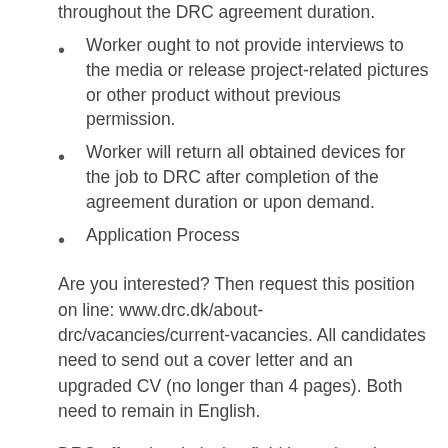throughout the DRC agreement duration.
Worker ought to not provide interviews to the media or release project-related pictures or other product without previous permission.
Worker will return all obtained devices for the job to DRC after completion of the agreement duration or upon demand.
Application Process
Are you interested? Then request this position on line: www.drc.dk/about-drc/vacancies/current-vacancies. All candidates need to send out a cover letter and an upgraded CV (no longer than 4 pages). Both need to remain in English.
DRC offers level playing field in work and forbids discrimination in work on the basis of race, sex, color, faith, sexual preference, age, marital status or special